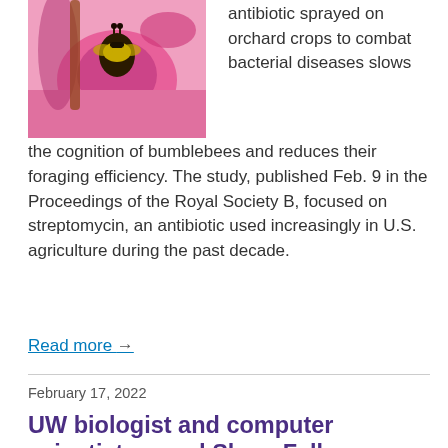[Figure (photo): A bumblebee on a pink flower, close-up photograph]
antibiotic sprayed on orchard crops to combat bacterial diseases slows the cognition of bumblebees and reduces their foraging efficiency. The study, published Feb. 9 in the Proceedings of the Royal Society B, focused on streptomycin, an antibiotic used increasingly in U.S. agriculture during the past decade.
Read more →
February 17, 2022
UW biologist and computer scientist named Sloan Fellows